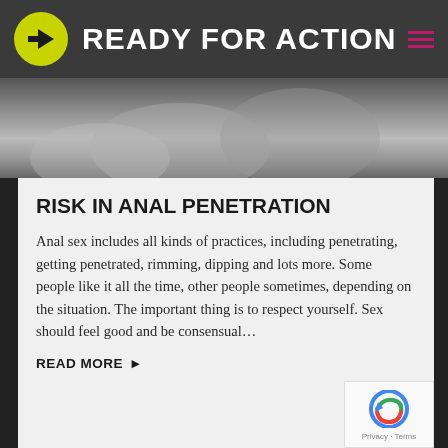READY FOR ACTION
[Figure (photo): Black and white close-up photo strip]
RISK IN ANAL PENETRATION
Anal sex includes all kinds of practices, including penetrating, getting penetrated, rimming, dipping and lots more. Some people like it all the time, other people sometimes, depending on the situation. The important thing is to respect yourself. Sex should feel good and be consensual…
READ MORE ▶